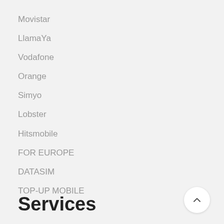Movistar
LlamaYa
Vodafone
Orange
Simyo
Lobster
Hitsmobile
FOR EUROPE
DATASIM
TOP-UP MOBILE
Services